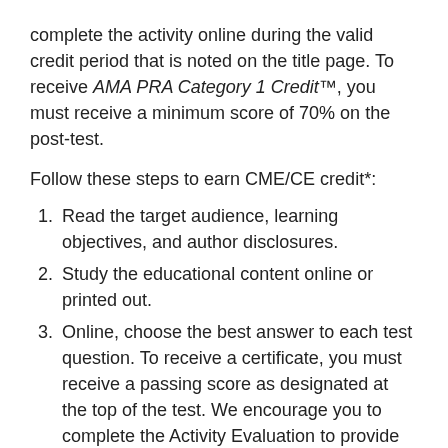complete the activity online during the valid credit period that is noted on the title page. To receive AMA PRA Category 1 Credit™, you must receive a minimum score of 70% on the post-test.
Follow these steps to earn CME/CE credit*:
Read the target audience, learning objectives, and author disclosures.
Study the educational content online or printed out.
Online, choose the best answer to each test question. To receive a certificate, you must receive a passing score as designated at the top of the test. We encourage you to complete the Activity Evaluation to provide feedback for future programming.
You may now view or print the certificate from your CME/CE Tracker. You may print the certificate but you